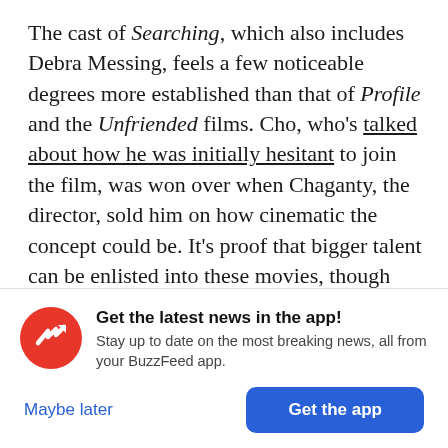The cast of Searching, which also includes Debra Messing, feels a few noticeable degrees more established than that of Profile and the Unfriended films. Cho, who's talked about how he was initially hesitant to join the film, was won over when Chaganty, the director, sold him on how cinematic the concept could be. It's proof that bigger talent can be enlisted into these movies, though Bekmambetov, with the fervor of a true believer, has become convinced that what we see the characters do within the scope of their screens is
[Figure (infographic): BuzzFeed app notification banner with red circular logo containing a white arrow, bold text 'Get the latest news in the app!', subtitle 'Stay up to date on the most breaking news, all from your BuzzFeed app.', with 'Maybe later' text link and 'Get the app' blue button.]